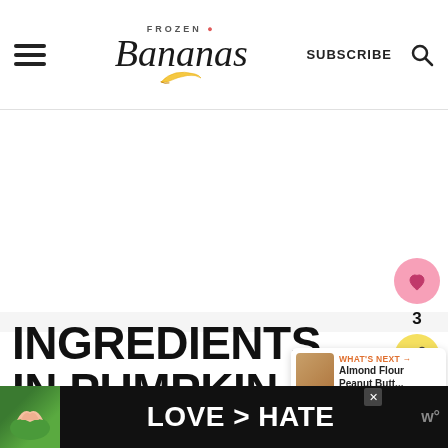Frozen Bananas — SUBSCRIBE
[Figure (screenshot): White blank advertisement placeholder area]
INGREDIENTS IN PUMPKIN PIE PROTEIN OVERNIGHT O...
[Figure (infographic): Sidebar with heart/like button showing count 3 and share button]
[Figure (infographic): What's Next panel showing Almond Flour Peanut Butt... thumbnail]
[Figure (photo): Bottom advertisement banner: two hands making heart shape, text LOVE > HATE on dark background]